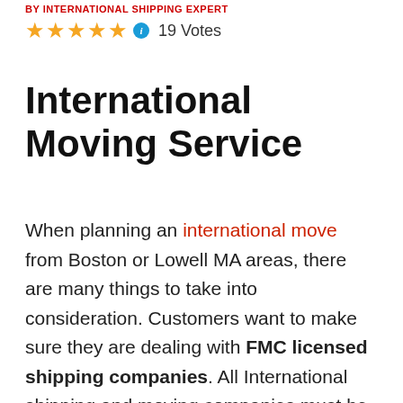BY INTERNATIONAL SHIPPING EXPERT
★★★★★ ⓘ 19 Votes
International Moving Service
When planning an international move from Boston or Lowell MA areas, there are many things to take into consideration. Customers want to make sure they are dealing with FMC licensed shipping companies. All International shipping and moving companies must be licensed by the Federal Maritime Commission in order to handle your cargo or issue a BOL